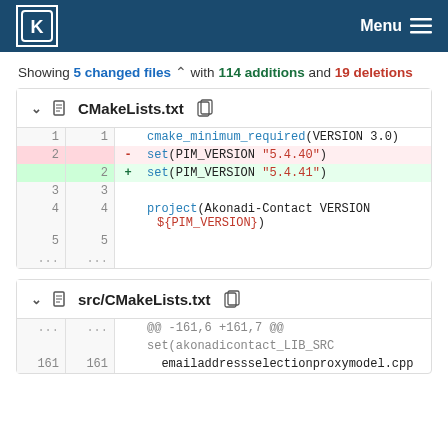KDE Menu
Showing 5 changed files with 114 additions and 19 deletions
| old | new | sign | code |
| --- | --- | --- | --- |
| 1 | 1 |  | cmake_minimum_required(VERSION 3.0) |
| 2 |  | -  | set(PIM_VERSION "5.4.40") |
|  | 2 | +  | set(PIM_VERSION "5.4.41") |
| 3 | 3 |  |  |
| 4 | 4 |  | project(Akonadi-Contact VERSION ${PIM_VERSION}) |
| 5 | 5 |  |  |
| ... | ... |  |  |
| old | new | sign | code |
| --- | --- | --- | --- |
| ... | ... |  | @@ -161,6 +161,7 @@ |
|  |  |  | set(akonadicontact_LIB_SRC |
| 161 | 161 |  |   emailaddressselectionproxymodel.cpp |